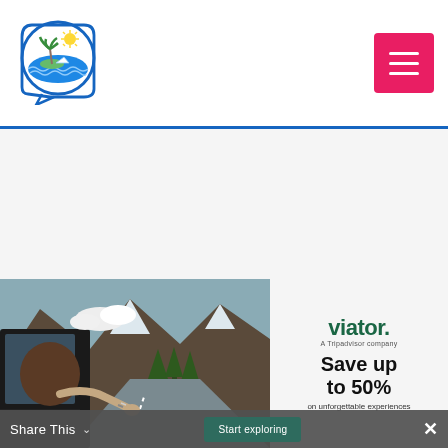[Figure (logo): Travel chat logo - circular icon with palm tree, paper boat, sun, ocean waves inside a speech bubble circle]
[Figure (other): Pink/red hamburger menu button with three white horizontal lines]
[Figure (photo): Person leaning out of car window on a mountain road with dramatic rocky peaks and trees]
viator. A Tripadvisor company
Save up to 50% on unforgettable experiences
Share This
Start exploring